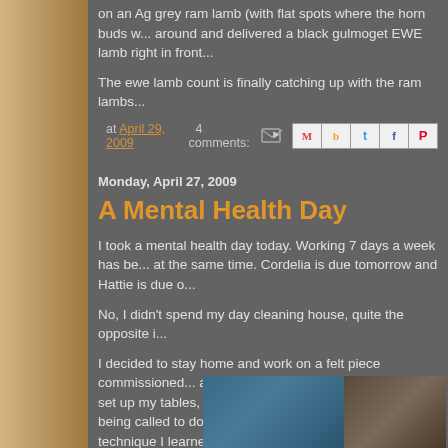on an Ag grey ram lamb (with flat spots where the horn buds w... around and delivered a black gulmoget EWE lamb right in front...
The ewe lamb count is finally catching up with the ram lambs...
at April 29, 2009   4 comments:
Monday, April 27, 2009
A Mental Health Day
I took a mental health day today. Working 7 days a week has be... at the same time. Cordelia is due tomorrow and Hattie is due o...
No, I didn't spend my day cleaning house, quite the opposite i...
I decided to stay home and work on a felt piece commissioned... and bubble wrap (actually pool liner), set up my tables, etc. I sta... but I soon realized I was being called to do a portrait of Lena (a... felting technique I learned in Ewa Kuniczak's class last year at...
[Figure (photo): Photo of a table with blue bubble wrap/pool liner and crafting materials]